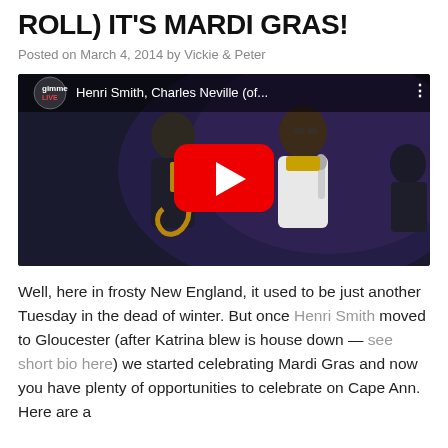ROLL) IT'S MARDI GRAS!
Posted on March 4, 2014 by Vickie & Peter
[Figure (screenshot): YouTube video thumbnail showing two musicians performing on stage — one playing saxophone, one singing into a microphone — with YouTube play button overlay and title 'Henri Smith, Charles Neville (of...' from gimme LIVE channel]
Well, here in frosty New England, it used to be just another Tuesday in the dead of winter.  But once Henri Smith moved to Gloucester (after Katrina blew is house down — see short bio here) we started celebrating Mardi Gras and now you have plenty of opportunities to celebrate on Cape Ann.  Here are a